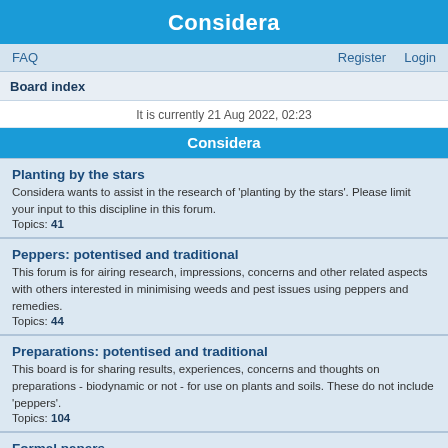Considera
FAQ    Register    Login
Board index
It is currently 21 Aug 2022, 02:23
Considera
Planting by the stars
Considera wants to assist in the research of 'planting by the stars'. Please limit your input to this discipline in this forum.
Topics: 41
Peppers: potentised and traditional
This forum is for airing research, impressions, concerns and other related aspects with others interested in minimising weeds and pest issues using peppers and remedies.
Topics: 44
Preparations: potentised and traditional
This board is for sharing results, experiences, concerns and thoughts on preparations - biodynamic or not - for use on plants and soils. These do not include 'peppers'.
Topics: 104
Formal papers
A silo of academic and other publications. Click underlined headings to get to papers in the vast majority of examples
Subforums: Biodynamics, Agrohomeopathy, Related 'other' papers
Topics: 438